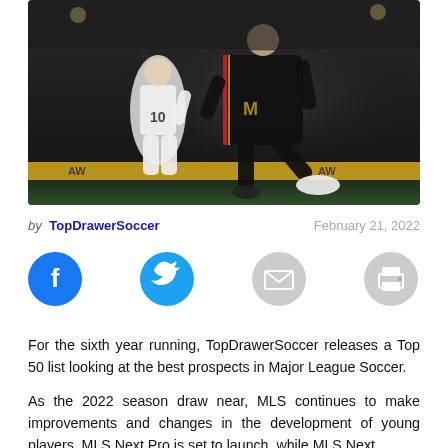[Figure (photo): Soccer match action photo showing a player in a black uniform kicking, with another player in white numbered 10 in the background, taken at night or dusk at a stadium with a yellow advertising banner visible at the bottom]
by TopDrawerSoccer	February 21, 2022
[Figure (infographic): Social sharing buttons: Facebook (blue circle with f), Twitter (blue circle with bird icon), Email (grey circle with envelope icon), Print (grey circle with printer icon)]
For the sixth year running, TopDrawerSoccer releases a Top 50 list looking at the best prospects in Major League Soccer.
As the 2022 season draw near, MLS continues to make improvements and changes in the development of young players. MLS Next Pro is set to launch, while MLS Next